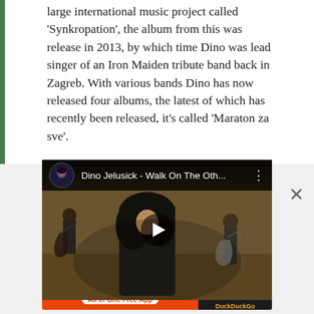large international music project called 'Synkropation', the album from this was release in 2013, by which time Dino was lead singer of an Iron Maiden tribute band back in Zagreb. With various bands Dino has now released four albums, the latest of which has recently been released, it's called 'Maraton za sve'.
[Figure (screenshot): Embedded YouTube video player showing Dino Jelusick - Walk On The Oth... with a music video thumbnail of three band members playing guitars in an outdoor desert/field setting. Video is paused with a play button visible.]
Advertisements
[Figure (screenshot): DuckDuckGo advertisement banner: orange left side reading 'Search, browse, and email with more privacy. All in One Free App', dark right side with DuckDuckGo duck logo.]